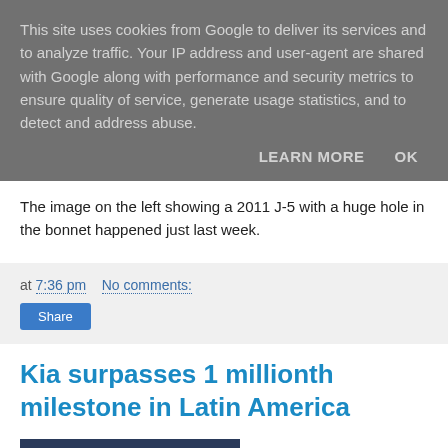This site uses cookies from Google to deliver its services and to analyze traffic. Your IP address and user-agent are shared with Google along with performance and security metrics to ensure quality of service, generate usage statistics, and to detect and address abuse.
LEARN MORE   OK
The image on the left showing a 2011 J-5 with a huge hole in the bonnet happened just last week.
at 7:36 pm   No comments:
Share
Kia surpasses 1 millionth milestone in Latin America
[Figure (photo): Partial view of a dark blue/navy background image, bottom of page]